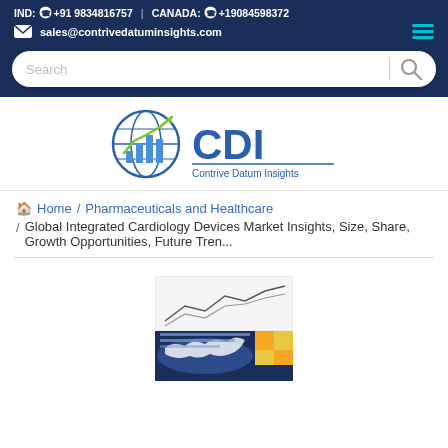IND: +91 9834816757 | CANADA: +19084598372
sales@contrivedatuminsights.com
[Figure (logo): CDI - Contrive Datum Insights logo with globe and chart icon]
Home / Pharmaceuticals and Healthcare / Global Integrated Cardiology Devices Market Insights, Size, Share, Growth Opportunities, Future Tren...
[Figure (photo): Market research report cover image with line charts and world map]